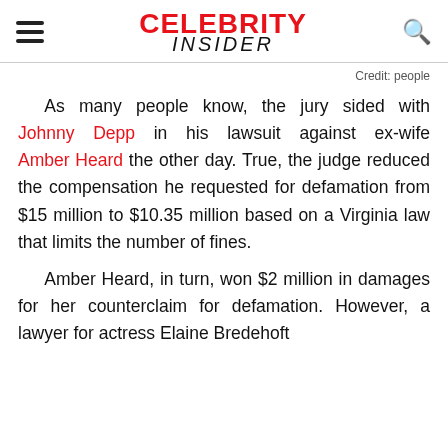CELEBRITY INSIDER
Credit: people
As many people know, the jury sided with Johnny Depp in his lawsuit against ex-wife Amber Heard the other day. True, the judge reduced the compensation he requested for defamation from $15 million to $10.35 million based on a Virginia law that limits the number of fines.
Amber Heard, in turn, won $2 million in damages for her counterclaim for defamation. However, a lawyer for actress Elaine Bredehoft